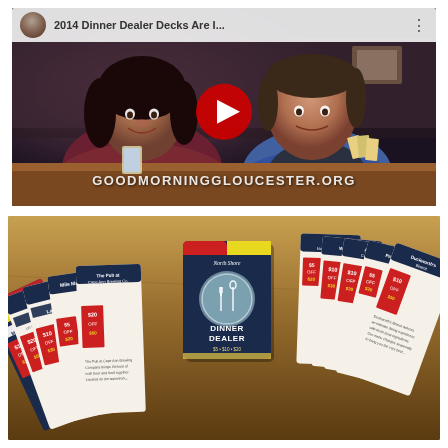[Figure (screenshot): YouTube video thumbnail showing two people sitting at a table discussing Dinner Dealer Decks. Title reads '2014 Dinner Dealer Decks Are I...' with a YouTube play button overlay and watermark text GOODMORNINGGLOUCESTER.ORG]
[Figure (photo): Photo of Dinner Dealer card decks spread out on a wooden table. Cards show restaurant names and discount offers ($5 OFF $20, $10 OFF $30, $20 OFF $50). A central box labeled 'North Shore Dinner Dealer' is visible in the center.]